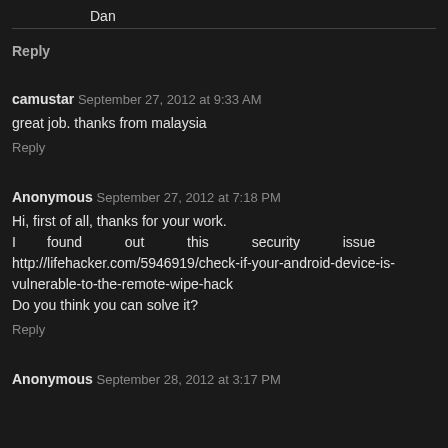Dan
Reply
camustar  September 27, 2012 at 9:33 AM
great job. thanks from malaysia
Reply
Anonymous  September 27, 2012 at 7:18 PM
Hi, first of all, thanks for your work.
I found out this security issue http://lifehacker.com/5946919/check-if-your-android-device-is-vulnerable-to-the-remote-wipe-hack
Do you think you can solve it?
Reply
Anonymous  September 28, 2012 at 3:17 PM